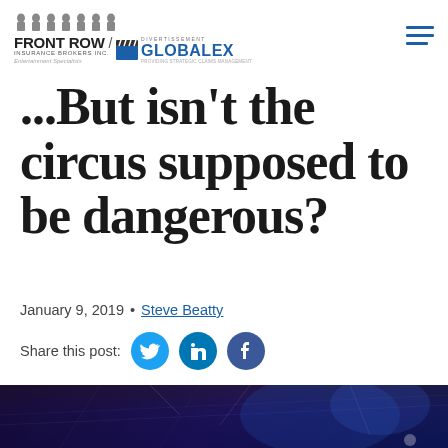[Figure (logo): Front Row Insurance Brokers Inc. / Divertissement Globalex logo with silhouette figures and clapperboard icon, plus hamburger menu icon]
...But isn't the circus supposed to be dangerous?
January 9, 2019 • Steve Beatty
Share this post:
[Figure (photo): Aerial circus performers inside a dark arena with blue and purple lighting, seen from below]